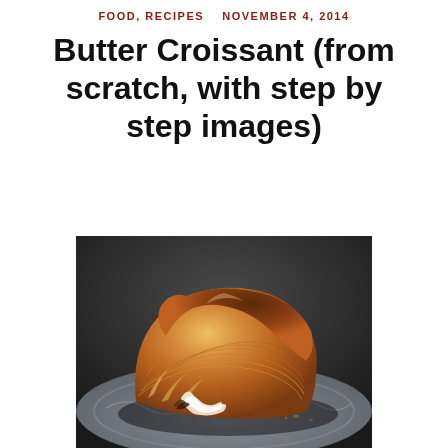FOOD, RECIPES   NOVEMBER 4, 2014
Butter Croissant (from scratch, with step by step images)
[Figure (photo): Close-up photograph of a butter croissant showing flaky golden-brown layers, resting on a decorative plate with a dark background]